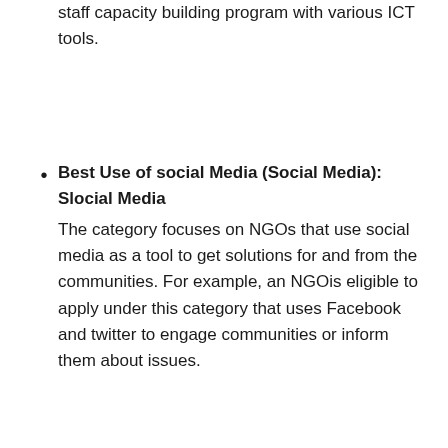staff capacity building program with various ICT tools.
Best Use of social Media (Social Media): Slocial Media
The category focuses on NGOs that use social media as a tool to get solutions for and from the communities. For example, an NGOis eligible to apply under this category that uses Facebook and twitter to engage communities or inform them about issues.